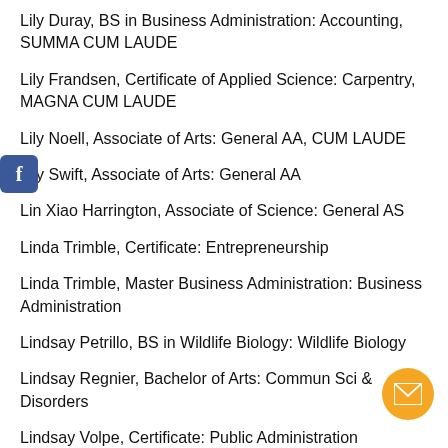Lily Duray, BS in Business Administration: Accounting, SUMMA CUM LAUDE
Lily Frandsen, Certificate of Applied Science: Carpentry, MAGNA CUM LAUDE
Lily Noell, Associate of Arts: General AA, CUM LAUDE
Lily Swift, Associate of Arts: General AA
Lin Xiao Harrington, Associate of Science: General AS
Linda Trimble, Certificate: Entrepreneurship
Linda Trimble, Master Business Administration: Business Administration
Lindsay Petrillo, BS in Wildlife Biology: Wildlife Biology
Lindsay Regnier, Bachelor of Arts: Commun Sci & Disorders
Lindsay Volpe, Certificate: Public Administration
Lindsey Snell, Bachelor of Arts: Social Work, MAGNA CUM LAUDE